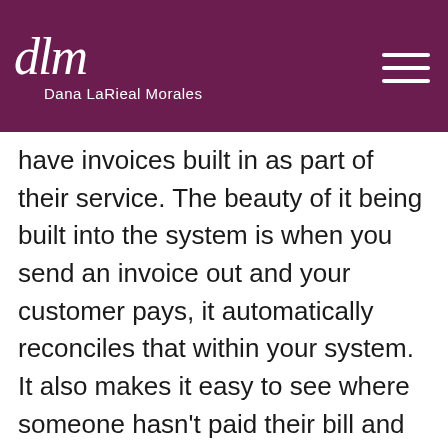[Figure (logo): Dana LaRieal Morales logo with stylized 'dlm' script text in white on dark purple/maroon background, with hamburger menu icon on the right]
have invoices built in as part of their service. The beauty of it being built into the system is when you send an invoice out and your customer pays, it automatically reconciles that within your system. It also makes it easy to see where someone hasn't paid their bill and you can manually or automatically send a reminder.  It's a great way to keep a finger on the pulse of what's happening with your invoices instead of you having to remember to follow-up.